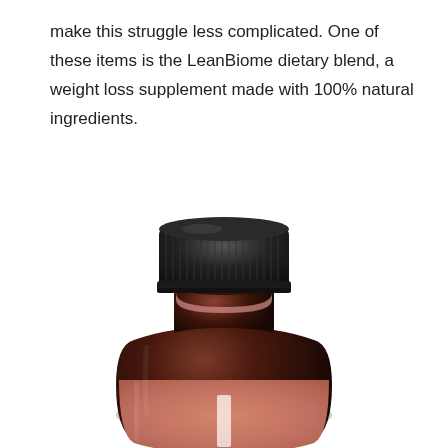make this struggle less complicated. One of these items is the LeanBiome dietary blend, a weight loss supplement made with 100% natural ingredients.
[Figure (photo): A dark amber glass supplement bottle with a black ribbed screw cap. The bottle has a salmon/rose-colored label visible at the bottom showing partial white text. The bottle is photographed against a white background.]